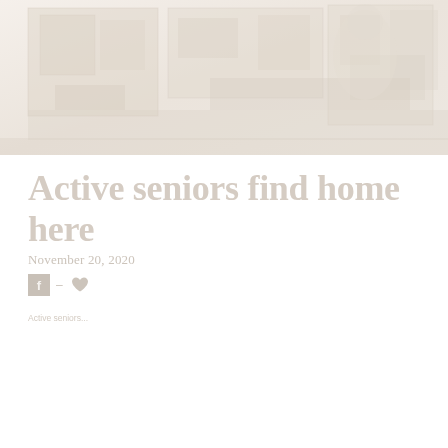[Figure (photo): Faded/washed-out interior room photo showing what appears to be a senior living community space, very light and pale tones]
Active seniors find home here
November 20, 2020
Social share icons (Facebook, heart/like)
Active seniors...